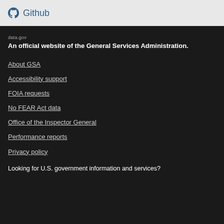Github
data.gov
An official website of the General Services Administration.
About GSA
Accessibility support
FOIA requests
No FEAR Act data
Office of the Inspector General
Performance reports
Privacy policy
Looking for U.S. government information and services?